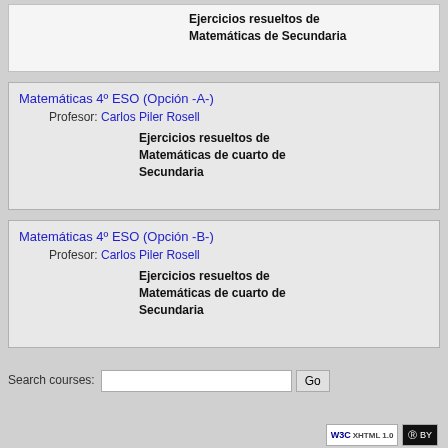Ejercicios resueltos de Matemáticas de Secundaria
Matemáticas 4º ESO (Opción -A-)
Profesor: Carlos Piler Rosell
Ejercicios resueltos de Matemáticas de cuarto de Secundaria
Matemáticas 4º ESO (Opción -B-)
Profesor: Carlos Piler Rosell
Ejercicios resueltos de Matemáticas de cuarto de Secundaria
Search courses: